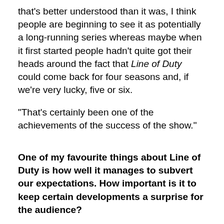that's better understood than it was, I think people are beginning to see it as potentially a long-running series whereas maybe when it first started people hadn't quite got their heads around the fact that Line of Duty could come back for four seasons and, if we're very lucky, five or six.
"That's certainly been one of the achievements of the success of the show."
One of my favourite things about Line of Duty is how well it manages to subvert our expectations. How important is it to keep certain developments a surprise for the audience?
"I think it's very important. I think there are things we need to hold back, questions that we want the audience to be asking and we don't give an immediate answer to.